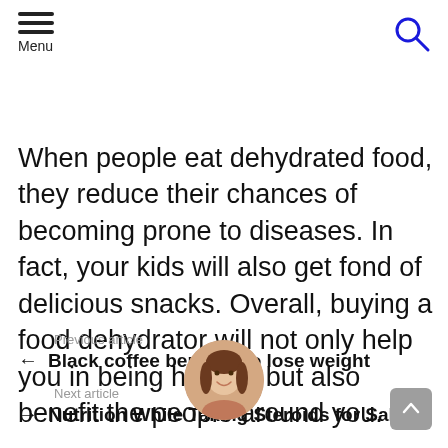Menu
When people eat dehydrated food, they reduce their chances of becoming prone to diseases. In fact, your kids will also get fond of delicious snacks. Overall, buying a food dehydrator will not only help you in being healthy but also benefit the people around you.
Previous article
Black coffee benefits to lose weight
Next article
Nutrition While Taking Steroids for Sale
[Figure (photo): Circular author profile photo of a woman with long brown hair, smiling]